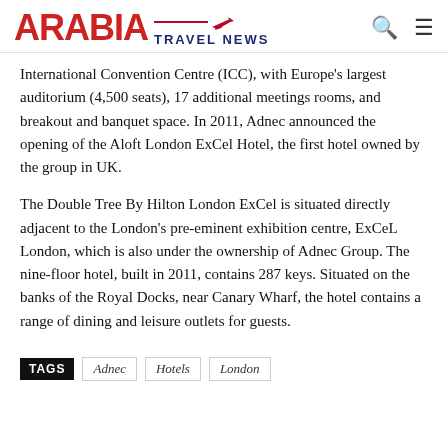ARABIA TRAVEL NEWS
International Convention Centre (ICC), with Europe's largest auditorium (4,500 seats), 17 additional meetings rooms, and breakout and banquet space. In 2011, Adnec announced the opening of the Aloft London ExCel Hotel, the first hotel owned by the group in UK.
The Double Tree By Hilton London ExCel is situated directly adjacent to the London's pre-eminent exhibition centre, ExCeL London, which is also under the ownership of Adnec Group. The nine-floor hotel, built in 2011, contains 287 keys. Situated on the banks of the Royal Docks, near Canary Wharf, the hotel contains a range of dining and leisure outlets for guests.
TAGS  Adnec  Hotels  London